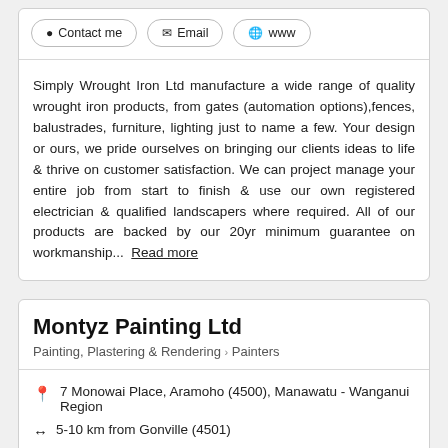Contact me | Email | www
Simply Wrought Iron Ltd manufacture a wide range of quality wrought iron products, from gates (automation options),fences, balustrades, furniture, lighting just to name a few. Your design or ours, we pride ourselves on bringing our clients ideas to life & thrive on customer satisfaction. We can project manage your entire job from start to finish & use our own registered electrician & qualified landscapers where required. All of our products are backed by our 20yr minimum guarantee on workmanship... Read more
Montyz Painting Ltd
Painting, Plastering & Rendering > Painters
7 Monowai Place, Aramoho (4500), Manawatu - Wanganui Region
5-10 km from Gonville (4501)